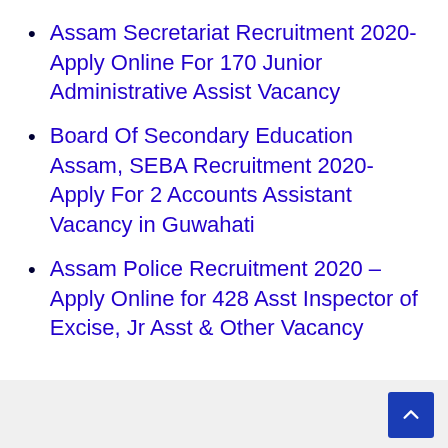Assam Secretariat Recruitment 2020- Apply Online For 170 Junior Administrative Assist Vacancy
Board Of Secondary Education Assam, SEBA Recruitment 2020- Apply For 2 Accounts Assistant Vacancy in Guwahati
Assam Police Recruitment 2020 – Apply Online for 428 Asst Inspector of Excise, Jr Asst & Other Vacancy